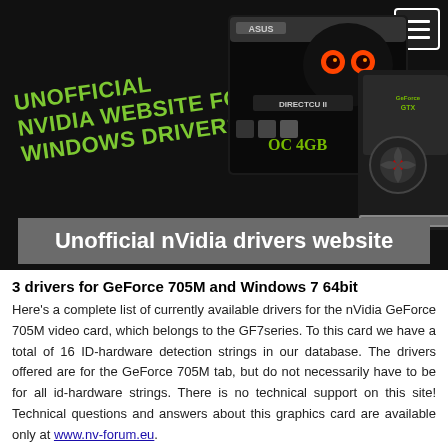[Figure (screenshot): Banner image with dark background showing ASUS STRIX GeForce GTX GPU box product shot on the right, and green diagonal text on the left reading 'UNOFFICIAL NVIDIA WEBSITE FOR WINDOWS DRIVERS']
Unofficial nVidia drivers website
3 drivers for GeForce 705M and Windows 7 64bit
Here's a complete list of currently available drivers for the nVidia GeForce 705M video card, which belongs to the GF7series. To this card we have a total of 16 ID-hardware detection strings in our database. The drivers offered are for the GeForce 705M tab, but do not necessarily have to be for all id-hardware strings. There is no technical support on this site! Technical questions and answers about this graphics card are available only at www.nv-forum.eu.